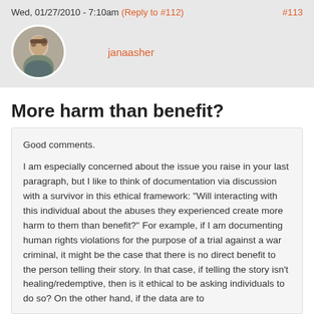Wed, 01/27/2010 - 7:10am (Reply to #112) #113
janaasher
More harm than benefit?
Good comments.

I am especially concerned about the issue you raise in your last paragraph, but I like to think of documentation via discussion with a survivor in this ethical framework: "Will interacting with this individual about the abuses they experienced create more harm to them than benefit?"  For example, if I am documenting human rights violations for the purpose of a trial against a war criminal, it might be the case that there is no direct benefit to the person telling their story.  In that case, if telling the story isn't healing/redemptive, then is it ethical to be asking individuals to do so?  On the other hand, if the data are to